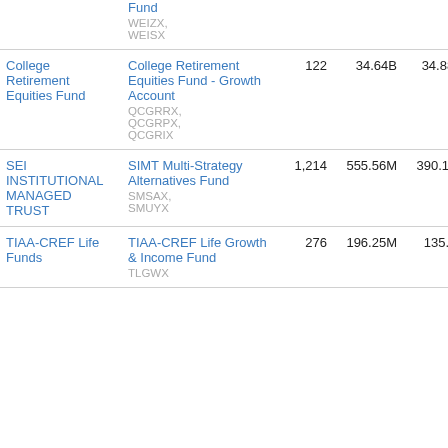| Fund Family | Fund Name | col3 | col4 | col5 | col6 | col7 |
| --- | --- | --- | --- | --- | --- | --- |
|  | Fund WEIZX, WEISX |  |  |  |  |  |
| College Retirement Equities Fund | College Retirement Equities Fund - Growth Account QCGRRX, QCGRPX, QCGRIX | 122 | 34.64B | 34.88M | 0.10 | Long |
| SEI INSTITUTIONAL MANAGED TRUST | SIMT Multi-Strategy Alternatives Fund SMSAX, SMUYX | 1,214 | 555.56M | 390.16K | 0.09 | Long |
| TIAA-CREF Life Funds | TIAA-CREF Life Growth & Income Fund TLGWX | 276 | 196.25M | 135.6K | 0.07 | Long |